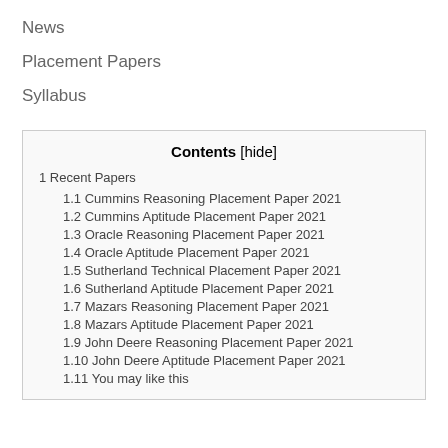News
Placement Papers
Syllabus
Contents [hide]
1 Recent Papers
1.1 Cummins Reasoning Placement Paper 2021
1.2 Cummins Aptitude Placement Paper 2021
1.3 Oracle Reasoning Placement Paper 2021
1.4 Oracle Aptitude Placement Paper 2021
1.5 Sutherland Technical Placement Paper 2021
1.6 Sutherland Aptitude Placement Paper 2021
1.7 Mazars Reasoning Placement Paper 2021
1.8 Mazars Aptitude Placement Paper 2021
1.9 John Deere Reasoning Placement Paper 2021
1.10 John Deere Aptitude Placement Paper 2021
1.11 You may like this